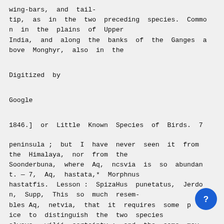wing-bars, and tail-tip, as in the two preceding species. Common in the plains of Upper India, and along the banks of the Ganges above Monghyr, also in the
Digitized  by
Google
1846.]  or  Little  Known  Species  of  Birds.  7
peninsula ; but I have never seen it from the Himalaya, nor from the Soonderbuna, where Aq, ncsvia is so abundant. — 7, Aq, hastata,* Morphnus hastatfis. Lesson : SpizaHus punetatus, Jerdon, Supp, This so much resembles Aq, netvia, that it requires some pice to distinguish the two species always, wilii certainty ; and the same may